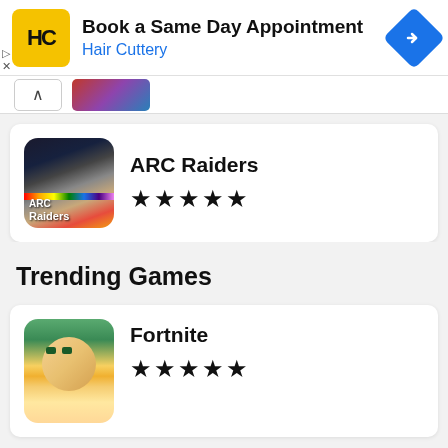[Figure (screenshot): Hair Cuttery advertisement banner with yellow HC logo, text 'Book a Same Day Appointment / Hair Cuttery', and blue diamond navigation icon]
[Figure (screenshot): Collapsed section bar with up arrow button and partial thumbnail preview]
[Figure (screenshot): ARC Raiders app card with game icon showing astronaut, rainbow bar, ARC Raiders logo text, game name and 5 stars]
Trending Games
[Figure (screenshot): Fortnite app card with character face icon, game name and 5 stars]